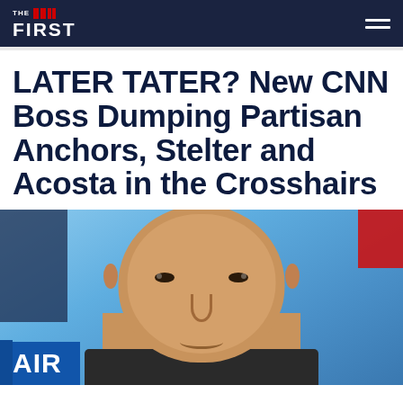THE FIRST
LATER TATER? New CNN Boss Dumping Partisan Anchors, Stelter and Acosta in the Crosshairs
[Figure (photo): Photo of a bald man on a TV set with an ON AIR chyron, appearing to be a CNN broadcast screenshot. A smaller figure is visible in the top-left corner and a red CNN logo segment is in the top-right corner.]